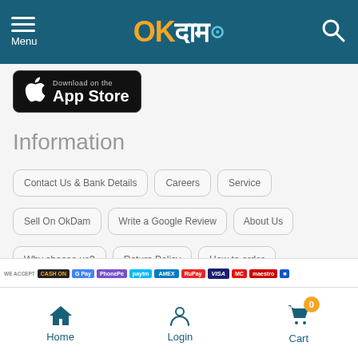Menu | OKDam | Search
[Figure (screenshot): Download on the App Store badge]
Information
Contact Us & Bank Details
Careers
Service
Sell On OkDam
Write a Google Review
About Us
Why choose us?
Return Policy
How to order
Terms and Conditions
Blog
Tag
Seller Policy
OKDam Online Shopping
Home | Login | Cart